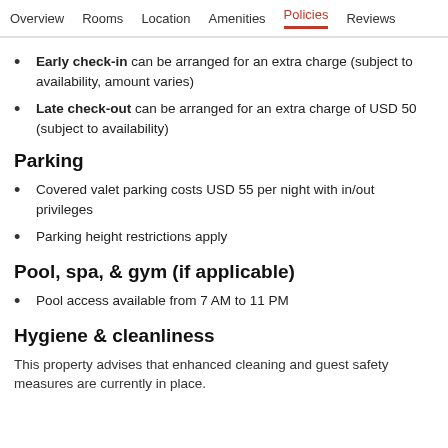Overview  Rooms  Location  Amenities  Policies  Reviews
Early check-in can be arranged for an extra charge (subject to availability, amount varies)
Late check-out can be arranged for an extra charge of USD 50 (subject to availability)
Parking
Covered valet parking costs USD 55 per night with in/out privileges
Parking height restrictions apply
Pool, spa, & gym (if applicable)
Pool access available from 7 AM to 11 PM
Hygiene & cleanliness
This property advises that enhanced cleaning and guest safety measures are currently in place.